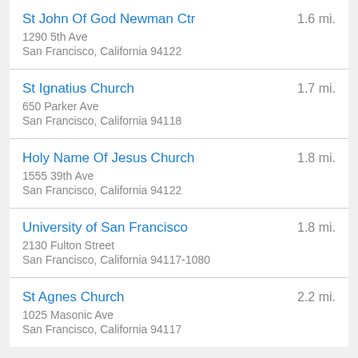St John Of God Newman Ctr | 1.6 mi. | 1290 5th Ave | San Francisco, California 94122
St Ignatius Church | 1.7 mi. | 650 Parker Ave | San Francisco, California 94118
Holy Name Of Jesus Church | 1.8 mi. | 1555 39th Ave | San Francisco, California 94122
University of San Francisco | 1.8 mi. | 2130 Fulton Street | San Francisco, California 94117-1080
St Agnes Church | 2.2 mi. | 1025 Masonic Ave | San Francisco, California 94117